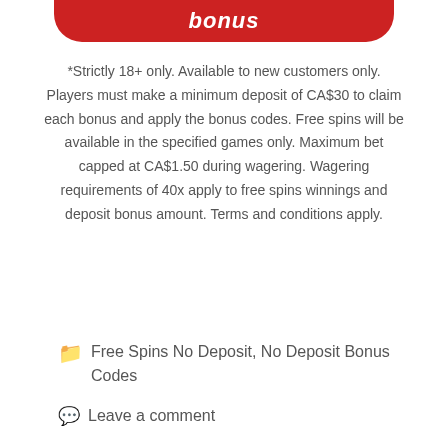[Figure (other): Red rounded button with white italic text 'bonus' partially visible at top of page]
*Strictly 18+ only. Available to new customers only. Players must make a minimum deposit of CA$30 to claim each bonus and apply the bonus codes. Free spins will be available in the specified games only. Maximum bet capped at CA$1.50 during wagering. Wagering requirements of 40x apply to free spins winnings and deposit bonus amount. Terms and conditions apply.
Read more
Free Spins No Deposit, No Deposit Bonus Codes
Leave a comment